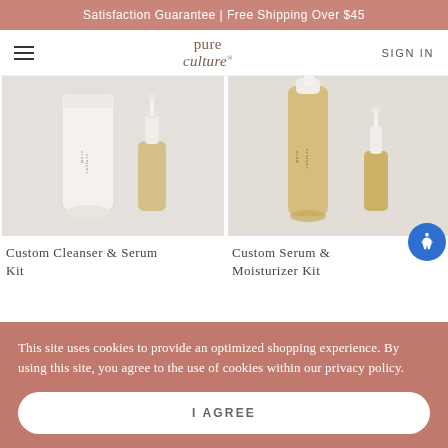Satisfaction Guarantee | Free Shipping Over $45
pure culture  SIGN IN
[Figure (photo): Custom Cleanser & Serum Kit product photo showing a white tube cleanser and small amber dropper bottle on light grey background]
[Figure (photo): Custom Serum & Moisturizer Kit product photo showing a tall amber serum bottle and small amber dropper bottle on light grey background]
Custom Cleanser & Serum Kit
Custom Serum & Moisturizer Kit
This site uses cookies to provide an optimized shopping experience. By using this site, you agree to the use of cookies within our privacy policy.
I AGREE